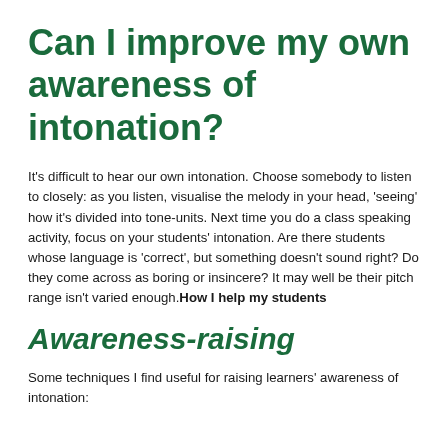Can I improve my own awareness of intonation?
It's difficult to hear our own intonation. Choose somebody to listen to closely: as you listen, visualise the melody in your head, 'seeing' how it's divided into tone-units. Next time you do a class speaking activity, focus on your students' intonation. Are there students whose language is 'correct', but something doesn't sound right? Do they come across as boring or insincere? It may well be their pitch range isn't varied enough.How I help my students
Awareness-raising
Some techniques I find useful for raising learners' awareness of intonation: